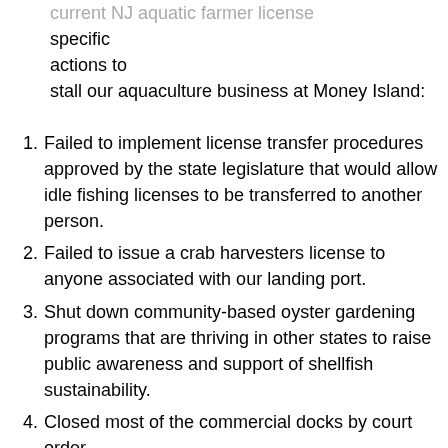current NJ aquatic farmer license specific actions to stall our aquaculture business at Money Island:
Failed to implement license transfer procedures approved by the state legislature that would allow idle fishing licenses to be transferred to another person.
Failed to issue a crab harvesters license to anyone associated with our landing port.
Shut down community-based oyster gardening programs that are thriving in other states to raise public awareness and support of shellfish sustainability.
Closed most of the commercial docks by court order.
Denied Sandy recovery funding.
Sued for land use permits missing since the 1970s.
Published a deliberately false water quality report even after its author admitted to its faults.
Denied a NJ SeaGrant wastewater processing permit